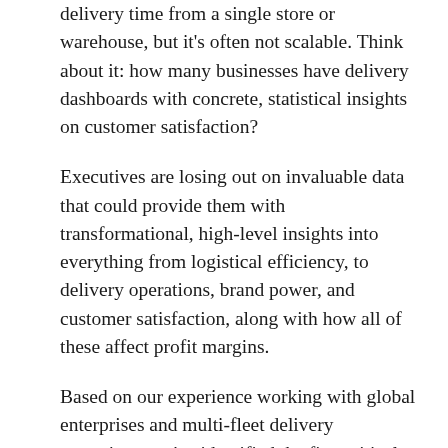delivery time from a single store or warehouse, but it's often not scalable. Think about it: how many businesses have delivery dashboards with concrete, statistical insights on customer satisfaction?
Executives are losing out on invaluable data that could provide them with transformational, high-level insights into everything from logistical efficiency, to delivery operations, brand power, and customer satisfaction, along with how all of these affect profit margins.
Based on our experience working with global enterprises and multi-fleet delivery operations, we've identified the five critical types of KPIs that businesses are overlooking the most.
The 5 types of KPIs you didn't know